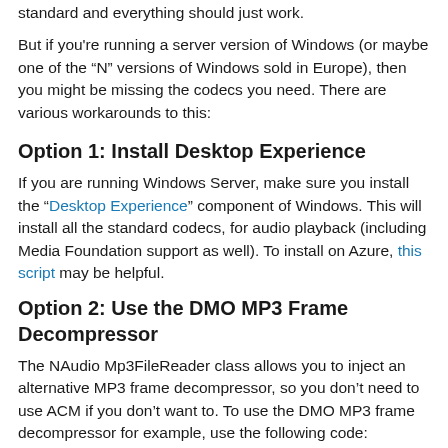standard and everything should just work.
But if you're running a server version of Windows (or maybe one of the “N” versions of Windows sold in Europe), then you might be missing the codecs you need. There are various workarounds to this:
Option 1: Install Desktop Experience
If you are running Windows Server, make sure you install the “Desktop Experience” component of Windows. This will install all the standard codecs, for audio playback (including Media Foundation support as well). To install on Azure, this script may be helpful.
Option 2: Use the DMO MP3 Frame Decompressor
The NAudio Mp3FileReader class allows you to inject an alternative MP3 frame decompressor, so you don’t need to use ACM if you don’t want to. To use the DMO MP3 frame decompressor for example, use the following code: